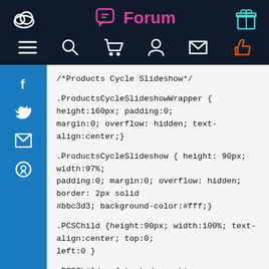Forum
/*Products Cycle Slideshow*/

.ProductsCycleSlideshowWrapper { height:160px; padding:0; margin:0; overflow: hidden; text-align:center;}

.ProductsCycleSlideshow { height: 90px; width:97%; padding:0; margin:0; overflow: hidden; border: 2px solid #bbc3d3; background-color:#fff;}

.PCSChild {height:90px; width:100%; text-align:center; top:0; left:0 }

.PCSChild a { text-decoration: none; color:000;}

.PCSChild a img { border: none; border-width:0px;}

.PCSOutput { text-align:center; font-size:11px;}

.PCSS...